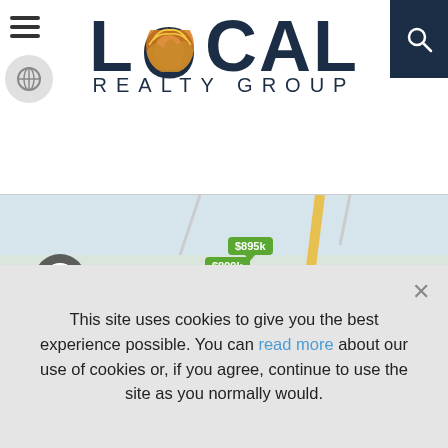[Figure (screenshot): Local Realty Group website header with logo showing LOCAL in large dark blue bold text with orange mountain/landscape design inside the O, and REALTY GROUP below in spaced letters. Hamburger menu icon on the left, search icon on dark blue background top right.]
[Figure (map): Real estate map showing property price bubbles in green ($895k, $899k, $880k, $882.5k, $825k, $874.9k, $830K, $899k) clustered near Middle Creek area. Map shows locations: Dupont Springs, Middle Creek, Caton, Conner Heights, Cedar (partial). Yellow road visible. Attribution: Leaflet | © 2022 TomTom, Microsoft]
This site uses cookies to give you the best experience possible. You can read more about our use of cookies or, if you agree, continue to use the site as you normally would.